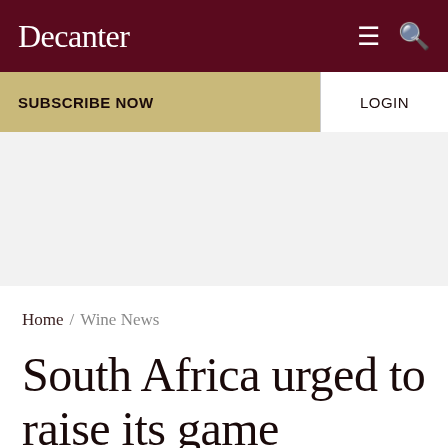Decanter
SUBSCRIBE NOW
LOGIN
[Figure (other): Grey advertisement placeholder area]
Home / Wine News
South Africa urged to raise its game